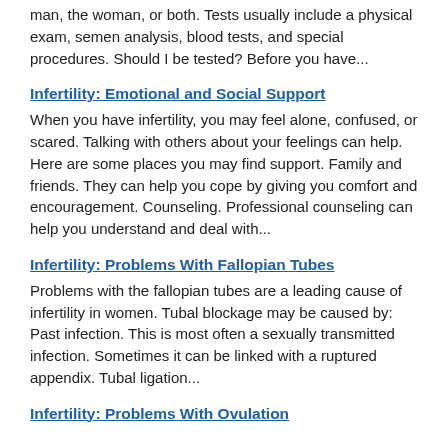man, the woman, or both. Tests usually include a physical exam, semen analysis, blood tests, and special procedures. Should I be tested? Before you have...
Infertility: Emotional and Social Support
When you have infertility, you may feel alone, confused, or scared. Talking with others about your feelings can help. Here are some places you may find support. Family and friends. They can help you cope by giving you comfort and encouragement. Counseling. Professional counseling can help you understand and deal with...
Infertility: Problems With Fallopian Tubes
Problems with the fallopian tubes are a leading cause of infertility in women. Tubal blockage may be caused by: Past infection. This is most often a sexually transmitted infection. Sometimes it can be linked with a ruptured appendix. Tubal ligation...
Infertility: Problems With Ovulation